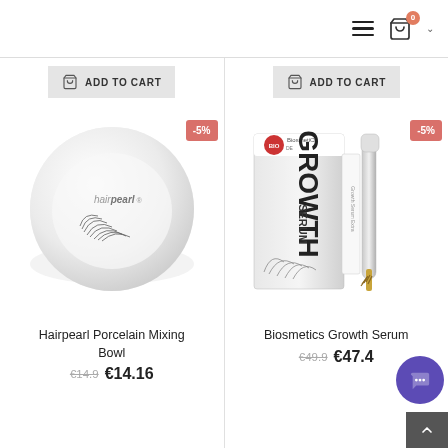[Figure (screenshot): Navigation bar with hamburger menu icon, shopping cart icon with badge showing 0, and a chevron dropdown indicator]
[Figure (photo): Hairpearl porcelain mixing bowl product image, top-down view showing white round bowl with eyelashes, hairpearl brand name on bowl, with -5% discount badge]
ADD TO CART
Hairpearl Porcelain Mixing Bowl
€14.9 €14.16
[Figure (photo): Biosmetics Growth Serum product image showing product box and applicator wand, with -5% discount badge]
ADD TO CART
Biosmetics Growth Serum
€49.9 €47.4